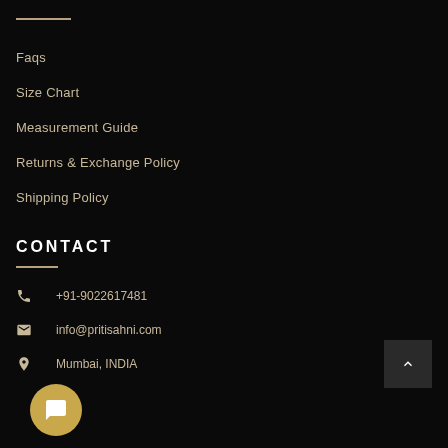Faqs
Size Chart
Measurement Guide
Returns & Exchange Policy
Shipping Policy
CONTACT
+91-9022617481
info@pritisahni.com
Mumbai, INDIA